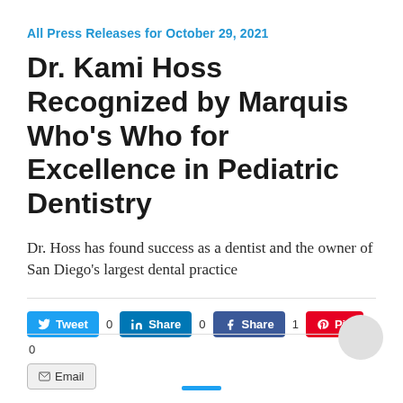All Press Releases for October 29, 2021
Dr. Kami Hoss Recognized by Marquis Who's Who for Excellence in Pediatric Dentistry
Dr. Hoss has found success as a dentist and the owner of San Diego's largest dental practice
[Figure (infographic): Social sharing buttons row: Tweet (0), LinkedIn Share (0), Facebook Share (1), Pinterest Pin (0), Email]